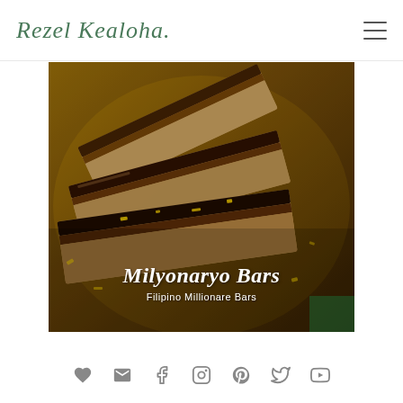Rezel Kealoha
[Figure (photo): Close-up overhead photo of chocolate millionaire shortbread bars (Milyonaryo Bars) on a gold plate, showing layered chocolate and caramel with gold dust garnish]
Milyonaryo Bars
Filipino Millionare Bars
[Figure (infographic): Social media icon bar with heart, email, Facebook, Instagram, Pinterest, Twitter, and YouTube icons]